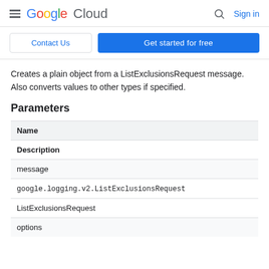Google Cloud  Sign in
Contact Us  Get started for free
Creates a plain object from a ListExclusionsRequest message. Also converts values to other types if specified.
Parameters
| Name | Description |
| --- | --- |
| message | google.logging.v2.ListExclusionsRequest
ListExclusionsRequest |
| options |  |